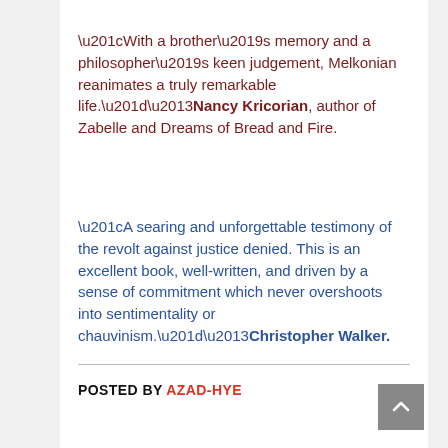“With a brother’s memory and a philosopher’s keen judgement, Melkonian reanimates a truly remarkable life.”–Nancy Kricorian, author of Zabelle and Dreams of Bread and Fire.
“A searing and unforgettable testimony of the revolt against justice denied. This is an excellent book, well-written, and driven by a sense of commitment which never overshoots into sentimentality or chauvinism.”–Christopher Walker.
POSTED BY AZAD-HYE